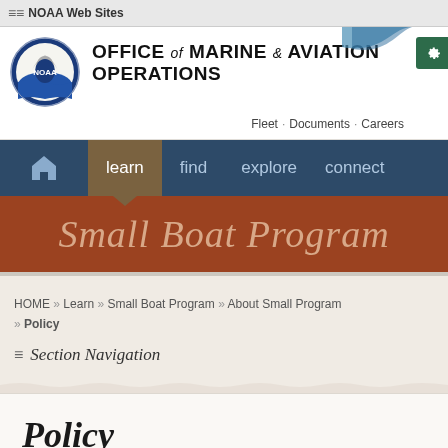NOAA Web Sites
[Figure (logo): NOAA circular logo with eagle and ocean wave]
OFFICE of MARINE & AVIATION OPERATIONS
Fleet · Documents · Careers
[Figure (infographic): Navigation bar with home icon, learn (active), find, explore, connect]
Small Boat Program
HOME » Learn » Small Boat Program » About Small Program » Policy
Section Navigation
Policy